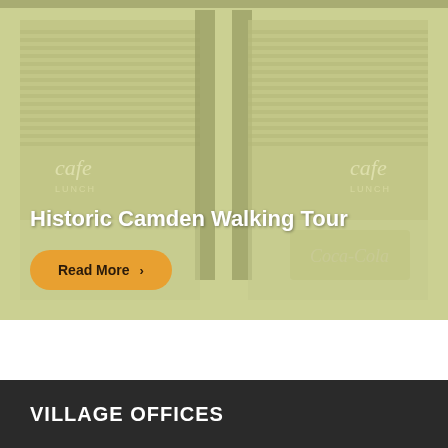[Figure (photo): Sepia-toned / yellow-green tinted photograph of a historic storefront with 'Cafe Lunch' signage visible on both sides, with decorative columns and Coca-Cola branding]
Historic Camden Walking Tour
Read More >
VILLAGE OFFICES